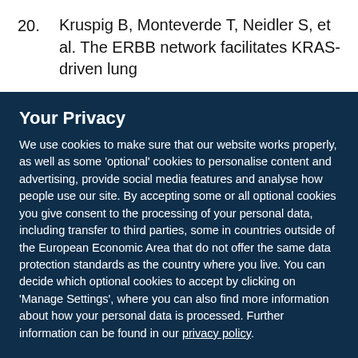20. Kruspig B, Monteverde T, Neidler S, et al. The ERBB network facilitates KRAS-driven lung
Your Privacy
We use cookies to make sure that our website works properly, as well as some 'optional' cookies to personalise content and advertising, provide social media features and analyse how people use our site. By accepting some or all optional cookies you give consent to the processing of your personal data, including transfer to third parties, some in countries outside of the European Economic Area that do not offer the same data protection standards as the country where you live. You can decide which optional cookies to accept by clicking on 'Manage Settings', where you can also find more information about how your personal data is processed. Further information can be found in our privacy policy.
Accept all cookies
Manage preferences